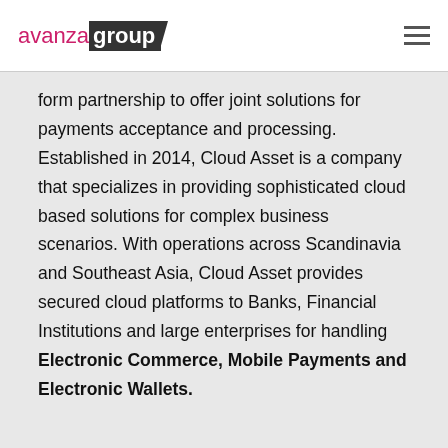avanza group
form partnership to offer joint solutions for payments acceptance and processing. Established in 2014, Cloud Asset is a company that specializes in providing sophisticated cloud based solutions for complex business scenarios. With operations across Scandinavia and Southeast Asia, Cloud Asset provides secured cloud platforms to Banks, Financial Institutions and large enterprises for handling Electronic Commerce, Mobile Payments and Electronic Wallets.